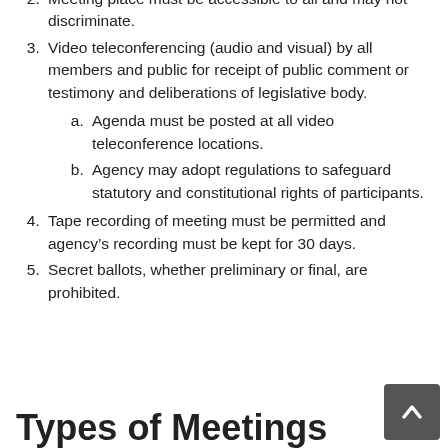Meeting place must be accessible to all and may not discriminate.
Video teleconferencing (audio and visual) by all members and public for receipt of public comment or testimony and deliberations of legislative body.
a. Agenda must be posted at all video teleconference locations.
b. Agency may adopt regulations to safeguard statutory and constitutional rights of participants.
Tape recording of meeting must be permitted and agency's recording must be kept for 30 days.
Secret ballots, whether preliminary or final, are prohibited.
Types of Meetings